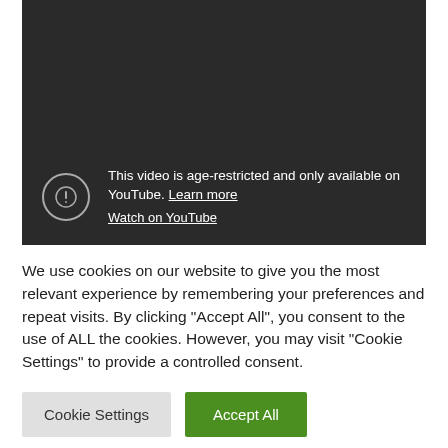[Figure (screenshot): A dark video player embed showing an age-restriction notice. A circle with exclamation mark icon is on the left. Text reads: 'This video is age-restricted and only available on YouTube. Learn more' and 'Watch on YouTube' as links.]
We use cookies on our website to give you the most relevant experience by remembering your preferences and repeat visits. By clicking "Accept All", you consent to the use of ALL the cookies. However, you may visit "Cookie Settings" to provide a controlled consent.
Cookie Settings | Accept All